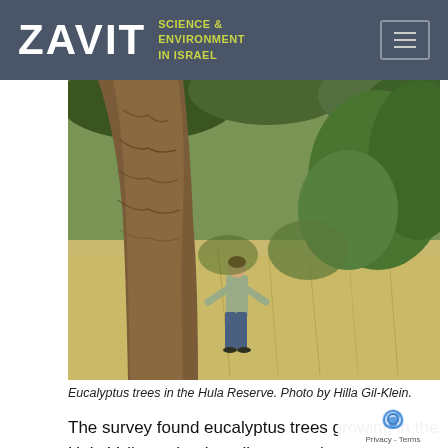ZAVIT SCIENCE & ENVIRONMENT IN ISRAEL
[Figure (photo): Person standing in front of large eucalyptus tree trunk in the Hula Reserve, surrounded by dry grass and green trees]
Eucalyptus trees in the Hula Reserve. Photo by Hilla Gil-Klein.
The survey found eucalyptus trees growing in the Hula Valley to be the tallest trees in Israel reaching heights just over 50 meters, and one natural process in particular is responsible for the growth spurts of this scale.
“When water evaporates from the leaf into the air,